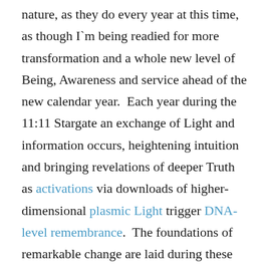nature, as they do every year at this time, as though I`m being readied for more transformation and a whole new level of Being, Awareness and service ahead of the new calendar year.  Each year during the 11:11 Stargate an exchange of Light and information occurs, heightening intuition and bringing revelations of deeper Truth as activations via downloads of higher-dimensional plasmic Light trigger DNA-level remembrance.  The foundations of remarkable change are laid during these auspicious Cosmic influences.
It is said that last week`s Triple 11 Gateway holds a vibrational resonance to the 11:11:2011 Gateway that occurred on the 11th of November 2011, like an energetic echo reverberating across the seven year